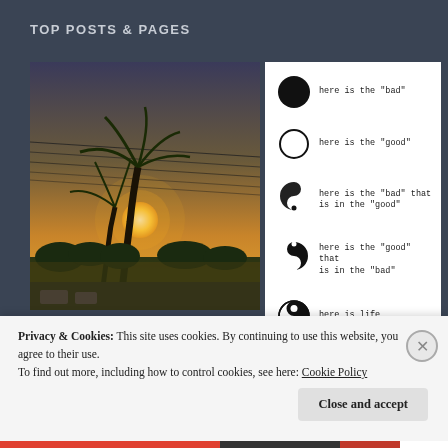TOP POSTS & PAGES
[Figure (photo): Sunset photo with palm tree silhouette and power lines against orange sky]
[Figure (infographic): Yin-yang diagram legend with 5 items: filled circle = here is the 'bad'; empty circle = here is the 'good'; partial yin shape = here is the 'bad' that is in the 'good'; partial yang shape = here is the 'good' that is in the 'bad'; full yin-yang = here is life]
[Figure (photo): Black and white close-up photo, partially visible]
Privacy & Cookies: This site uses cookies. By continuing to use this website, you agree to their use.
To find out more, including how to control cookies, see here: Cookie Policy
Close and accept